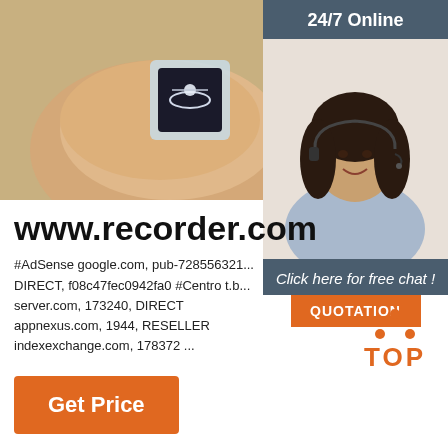[Figure (photo): Photo of a hand holding a clear plastic box containing a diamond ring on black velvet, with a gold frame visible in background]
24/7 Online
[Figure (photo): Photo of a smiling female customer service agent with headset]
Click here for free chat !
QUOTATION
www.recorder.com
#AdSense google.com, pub-728556321... DIRECT, f08c47fec0942fa0 #Centro t.b... server.com, 173240, DIRECT appnexus.com, 1944, RESELLER indexexchange.com, 178372 ...
[Figure (logo): TOP logo with orange dots in triangle pattern above the word TOP]
Get Price